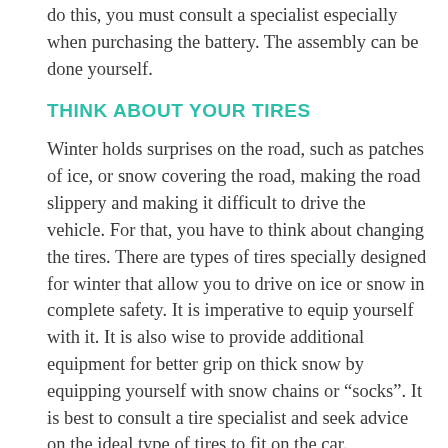do this, you must consult a specialist especially when purchasing the battery. The assembly can be done yourself.
THINK ABOUT YOUR TIRES
Winter holds surprises on the road, such as patches of ice, or snow covering the road, making the road slippery and making it difficult to drive the vehicle. For that, you have to think about changing the tires. There are types of tires specially designed for winter that allow you to drive on ice or snow in complete safety. It is imperative to equip yourself with it. It is also wise to provide additional equipment for better grip on thick snow by equipping yourself with snow chains or “socks”. It is best to consult a tire specialist and seek advice on the ideal type of tires to fit on the car.
Next, it is essential to check the elements of the vehicle’s lighting system, including headlight bulbs, signal and position lights, for better visibility and so